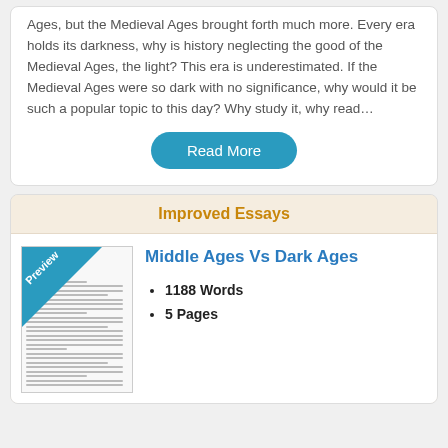Ages, but the Medieval Ages brought forth much more. Every era holds its darkness, why is history neglecting the good of the Medieval Ages, the light? This era is underestimated. If the Medieval Ages were so dark with no significance, why would it be such a popular topic to this day? Why study it, why read…
Read More
Improved Essays
[Figure (other): Thumbnail preview of an essay document with a 'Preview' badge in the top-left corner]
Middle Ages Vs Dark Ages
1188 Words
5 Pages